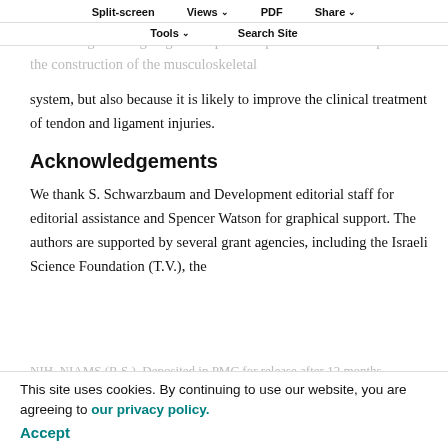Split-screen | Views | PDF | Share | Tools | Search Site
Finding answers to the questions above is essential not only for elucidating an intriguing developmental process that encompasses the construction of the musculoskeletal system, but also because it is likely to improve the clinical treatment of tendon and ligament injuries.
Acknowledgements
We thank S. Schwarzbaum and Development editorial staff for editorial assistance and Spencer Watson for graphical support. The authors are supported by several grant agencies, including the Israeli Science Foundation (T.V.), the NIH, NIAMS (R.S.). Deposited in PMC for release after 12 months.
The authors declare no competing financial interests.
This site uses cookies. By continuing to use our website, you are agreeing to our privacy policy. Accept